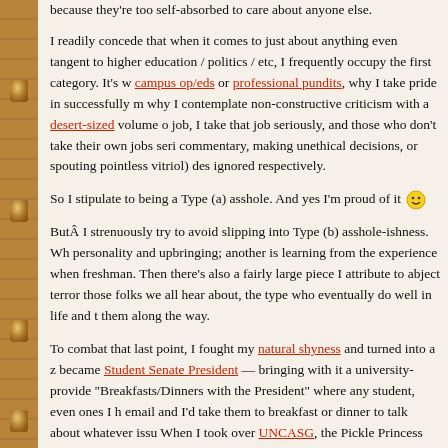because they're too self-absorbed to care about anyone else.
I readily concede that when it comes to just about anything even tangent to higher education / politics / etc, I frequently occupy the first category. It's why I read campus op/eds or professional pundits, why I take pride in successfully m... why I contemplate non-constructive criticism with a desert-sized volume of... job, I take that job seriously, and those who don't take their own jobs seri... commentary, making unethical decisions, or spouting pointless vitriol) des... ignored respectively.
So I stipulate to being a Type (a) asshole. And yes I'm proud of it 🙂
ButÂ I strenuously try to avoid slipping into Type (b) asshole-ishness. Wh... personality and upbringing; another is learning from the experience when... freshman. Then there's also a fairly large piece I attribute to abject terror... those folks we all hear about, the type who eventually do well in life and t... them along the way.
To combat that last point, I fought my natural shyness and turned into a z... became Student Senate President — bringing with it a university-provide... "Breakfasts/Dinners with the President" where any student, even ones I h... email and I'd take them to breakfast or dinner to talk about whatever issu... When I took over UNCASG, the Pickle Princess and I started a "Listening... hours (upon hours) driving to every single institution in the UNC system m...